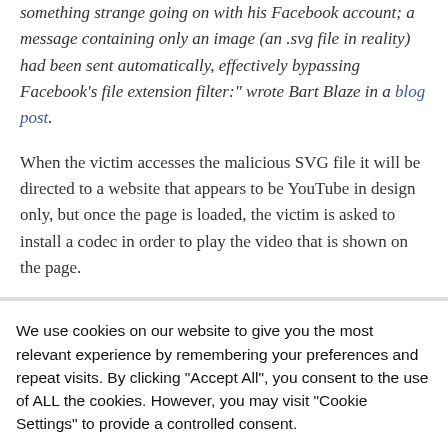something strange going on with his Facebook account; a message containing only an image (an .svg file in reality) had been sent automatically, effectively bypassing Facebook's file extension filter:" wrote Bart Blaze in a blog post.
When the victim accesses the malicious SVG file it will be directed to a website that appears to be YouTube in design only, but once the page is loaded, the victim is asked to install a codec in order to play the video that is shown on the page.
We use cookies on our website to give you the most relevant experience by remembering your preferences and repeat visits. By clicking "Accept All", you consent to the use of ALL the cookies. However, you may visit "Cookie Settings" to provide a controlled consent.